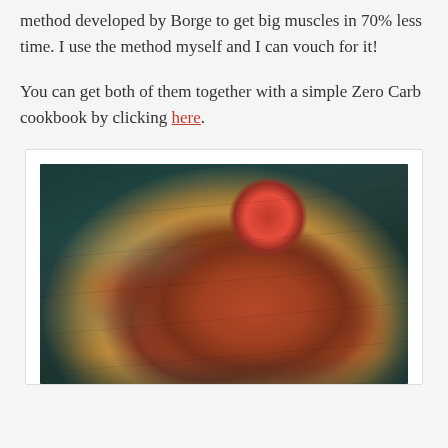method developed by Borge to get big muscles in 70% less time. I use the method myself and I can vouch for it!
You can get both of them together with a simple Zero Carb cookbook by clicking here.
[Figure (photo): Overhead photo of grilled/BBQ chicken pieces on crumpled parchment paper on a wooden board, with a small white bowl of red dipping sauce, on a dark teal wooden table background.]